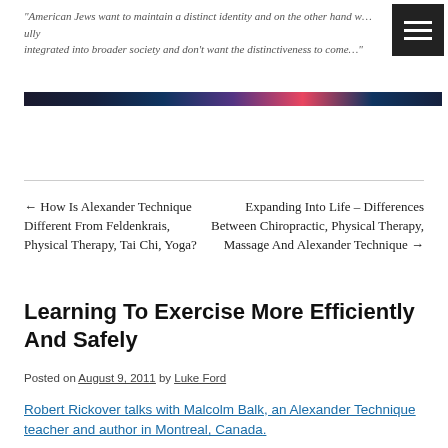"American Jews want to maintain a distinct identity and on the other hand w...ully integrated into broader society and don't want the distinctiveness to come..."
[Figure (photo): Dark horizontal image bar showing a blurred or abstract photograph]
← How Is Alexander Technique Different From Feldenkrais, Physical Therapy, Tai Chi, Yoga?
Expanding Into Life – Differences Between Chiropractic, Physical Therapy, Massage And Alexander Technique →
Learning To Exercise More Efficiently And Safely
Posted on August 9, 2011 by Luke Ford
Robert Rickover talks with Malcolm Balk, an Alexander Technique teacher and author in Montreal, Canada.